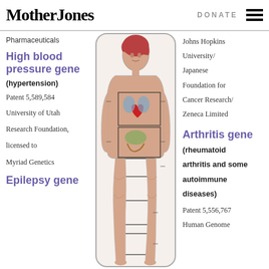Mother Jones | DONATE
Pharmaceuticals
High blood pressure gene
(hypertension)
Patent 5,589,584
University of Utah Research Foundation, licensed to Myriad Genetics
Epilepsy gene
[Figure (illustration): Medical illustration of a female human body showing internal organs with rectangular annotation boxes overlaid on different body regions]
Johns Hopkins University/ Japanese Foundation for Cancer Research/ Zeneca Limited
Arthritis gene
(rheumatoid arthritis and some autoimmune diseases)
Patent 5,556,767
Human Genome